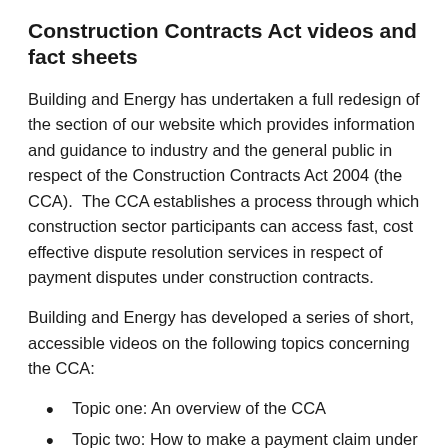Construction Contracts Act videos and fact sheets
Building and Energy has undertaken a full redesign of the section of our website which provides information and guidance to industry and the general public in respect of the Construction Contracts Act 2004 (the CCA).  The CCA establishes a process through which construction sector participants can access fast, cost effective dispute resolution services in respect of payment disputes under construction contracts.
Building and Energy has developed a series of short, accessible videos on the following topics concerning the CCA:
Topic one: An overview of the CCA
Topic two: How to make a payment claim under the implied provisions of the CCA